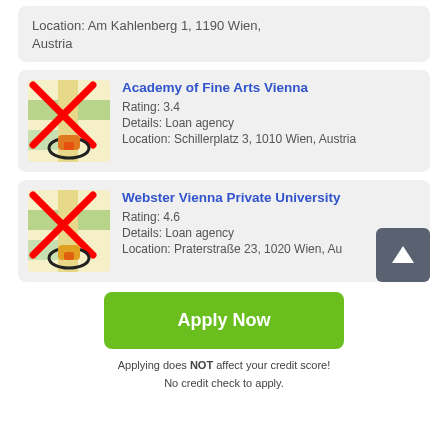Location: Am Kahlenberg 1, 1190 Wien, Austria
Academy of Fine Arts Vienna
Rating: 3.4
Details: Loan agency
Location: Schillerplatz 3, 1010 Wien, Austria
Webster Vienna Private University
Rating: 4.6
Details: Loan agency
Location: Praterstraße 23, 1020 Wien, Au
Apply Now
Applying does NOT affect your credit score!
No credit check to apply.